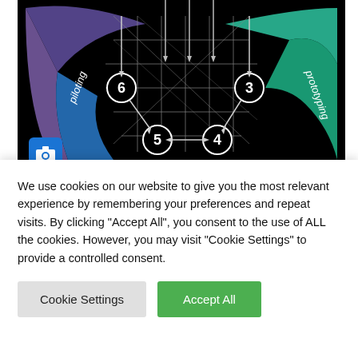[Figure (infographic): Design process diagram showing numbered stages (3-6) with labels: piloting (6), prototyping (3), experimenting (4), detail design (5), detail. Connected by arrows in a circular/spiral arrangement on black background with colored arc sections (purple, blue, teal/green). A camera icon appears in the lower-left of the image.]
НОВОСТИ
First Mode созданием
We use cookies on our website to give you the most relevant experience by remembering your preferences and repeat visits. By clicking "Accept All", you consent to the use of ALL the cookies. However, you may visit "Cookie Settings" to provide a controlled consent.